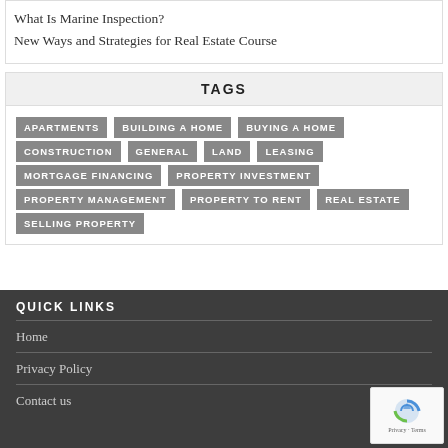What Is Marine Inspection?
New Ways and Strategies for Real Estate Course
TAGS
APARTMENTS
BUILDING A HOME
BUYING A HOME
CONSTRUCTION
GENERAL
LAND
LEASING
MORTGAGE FINANCING
PROPERTY INVESTMENT
PROPERTY MANAGEMENT
PROPERTY TO RENT
REAL ESTATE
SELLING PROPERTY
QUICK LINKS
Home
Privacy Policy
Contact us